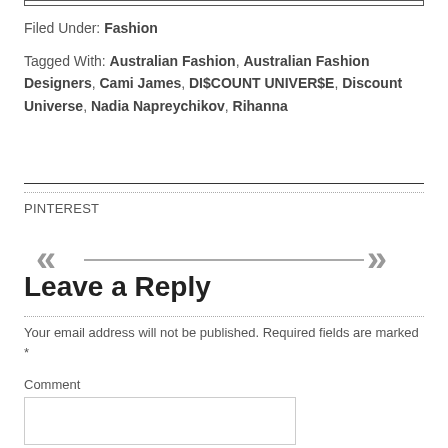Filed Under: Fashion
Tagged With: Australian Fashion, Australian Fashion Designers, Cami James, DI$COUNT UNIVER$E, Discount Universe, Nadia Napreychikov, Rihanna
PINTEREST
Leave a Reply
Your email address will not be published. Required fields are marked *
Comment